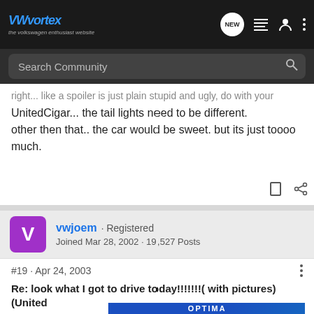VWvortex · the volkswagen enthusiast website
Search Community
UnitedCigar... the tail lights need to be different.
other then that.. the car would be sweet. but its just toooo much.
vwjoem · Registered
Joined Mar 28, 2002 · 19,527 Posts
#19 · Apr 24, 2003
Re: look what I got to drive today!!!!!!!( with pictures) (United
[Figure (screenshot): Optima Batteries advertisement banner]